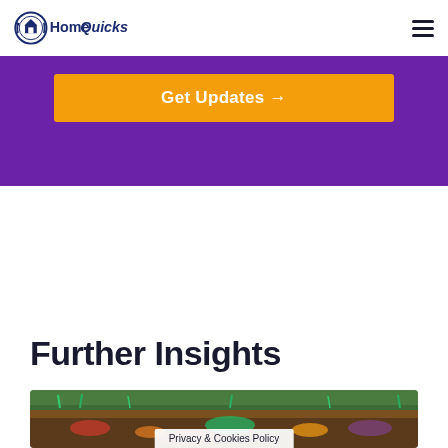HomeQuicks
[Figure (other): Purple banner with orange 'Get Updates →' button]
Further Insights
[Figure (photo): Photo of a compost bin or raised garden bed with vegetable scraps and green grass in background. Overlay label reads 'Privacy & Cookies Policy']